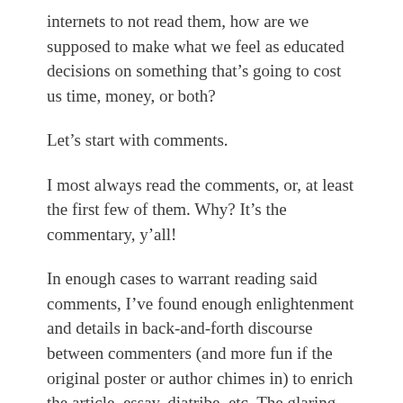internets to not read them, how are we supposed to make what we feel as educated decisions on something that's going to cost us time, money, or both?
Let's start with comments.
I most always read the comments, or, at least the first few of them. Why? It's the commentary, y'all!
In enough cases to warrant reading said comments, I've found enough enlightenment and details in back-and-forth discourse between commenters (and more fun if the original poster or author chimes in) to enrich the article, essay, diatribe, etc. The glaring exception is YouTube videos, which are riddled with spamvertisements.
I also use comments as a bellwether of the source